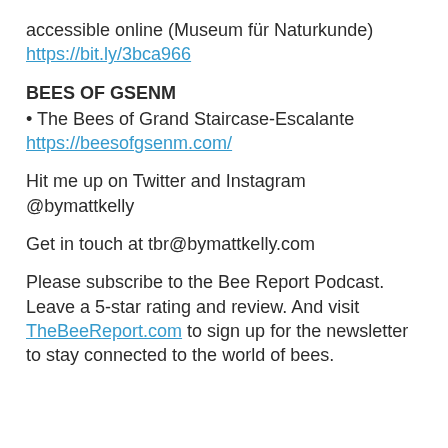accessible online (Museum für Naturkunde) https://bit.ly/3bca966
BEES OF GSENM
• The Bees of Grand Staircase-Escalante https://beesofgsenm.com/
Hit me up on Twitter and Instagram @bymattkelly
Get in touch at tbr@bymattkelly.com
Please subscribe to the Bee Report Podcast. Leave a 5-star rating and review. And visit TheBeeReport.com to sign up for the newsletter to stay connected to the world of bees.